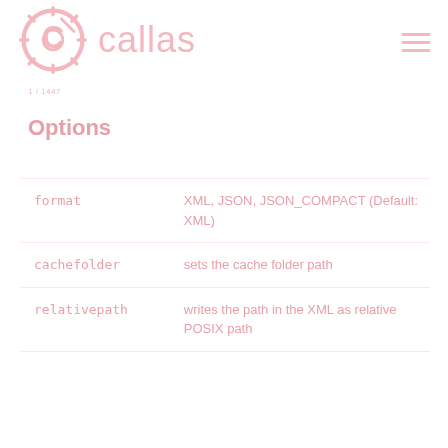callas
1 / 1447
Options
| Option | Description |
| --- | --- |
| format | XML, JSON, JSON_COMPACT (Default: XML) |
| cachefolder | sets the cache folder path |
| relativepath | writes the path in the XML as relative POSIX path |